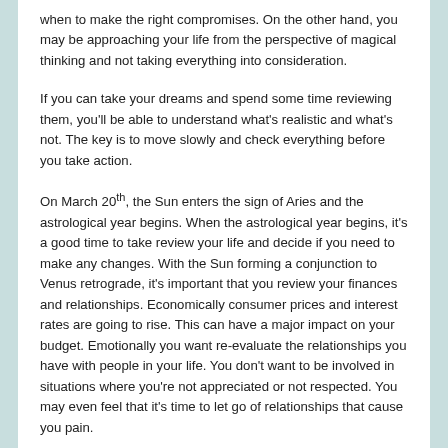when to make the right compromises. On the other hand, you may be approaching your life from the perspective of magical thinking and not taking everything into consideration.
If you can take your dreams and spend some time reviewing them, you'll be able to understand what's realistic and what's not. The key is to move slowly and check everything before you take action.
On March 20th, the Sun enters the sign of Aries and the astrological year begins. When the astrological year begins, it's a good time to take review your life and decide if you need to make any changes. With the Sun forming a conjunction to Venus retrograde, it's important that you review your finances and relationships. Economically consumer prices and interest rates are going to rise. This can have a major impact on your budget. Emotionally you want re-evaluate the relationships you have with people in your life. You don't want to be involved in situations where you're not appreciated or not respected. You may even feel that it's time to let go of relationships that cause you pain.
The Moon forms a very tight conjunction to Saturn at the time of this equinox. The Moon is at 27º Sagittarius 30" and Saturn is at